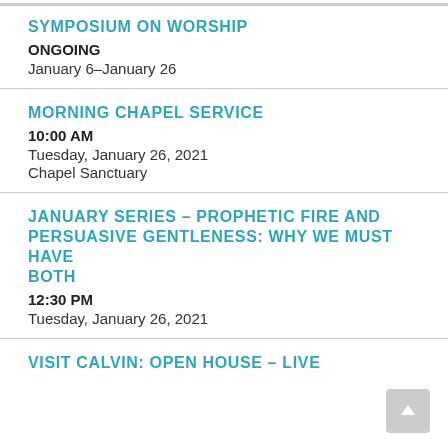SYMPOSIUM ON WORSHIP
ONGOING
January 6–January 26
MORNING CHAPEL SERVICE
10:00 AM
Tuesday, January 26, 2021
Chapel Sanctuary
JANUARY SERIES – PROPHETIC FIRE AND PERSUASIVE GENTLENESS: WHY WE MUST HAVE BOTH
12:30 PM
Tuesday, January 26, 2021
VISIT CALVIN: OPEN HOUSE – LIVE